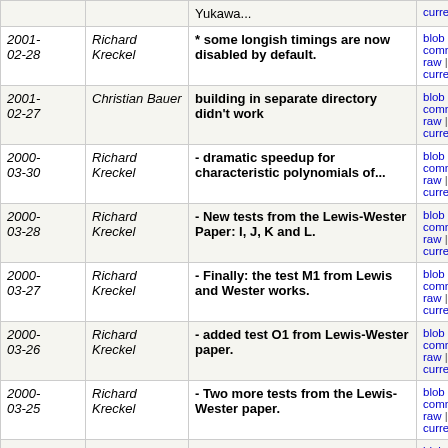| Date | Author | Message | Links |
| --- | --- | --- | --- |
|  |  | Yukawa... | blob | commitdiff | raw | diff to current |
| 2001-02-28 | Richard Kreckel | * some longish timings are now disabled by default. | blob | commitdiff | raw | diff to current |
| 2001-02-27 | Christian Bauer | building in separate directory didn't work | blob | commitdiff | raw | diff to current |
| 2000-03-30 | Richard Kreckel | - dramatic speedup for characteristic polynomials of... | blob | commitdiff | raw | diff to current |
| 2000-03-28 | Richard Kreckel | - New tests from the Lewis-Wester Paper: I, J, K and L. | blob | commitdiff | raw | diff to current |
| 2000-03-27 | Richard Kreckel | - Finally: the test M1 from Lewis and Wester works. | blob | commitdiff | raw | diff to current |
| 2000-03-26 | Richard Kreckel | - added test O1 from Lewis-Wester paper. | blob | commitdiff | raw | diff to current |
| 2000-03-25 | Richard Kreckel | - Two more tests from the Lewis-Wester paper. | blob | commitdiff | raw | diff to current |
| 2000-03-25 | Richard Kreckel | - Added some tests from the Lewis-Wester testsuite. | blob | commitdiff | raw | diff to current |
| 2000-03-15 | Richard Kreckel | - New file exam_inifcns.cpp holds some functions that... | blob | commitdiff | raw | diff to current |
| 2000-03-13 | Richard Kreckel | - Two new timings that are interesting for optimizing. | blob | commitdiff | raw | diff to current |